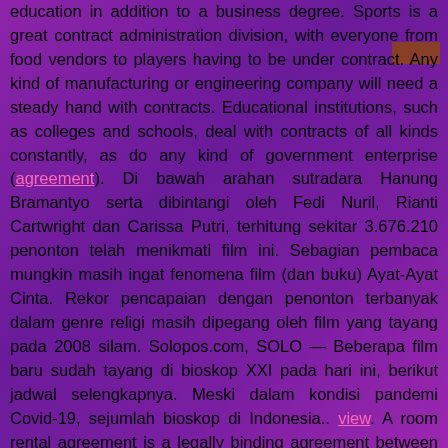education in addition to a business degree. Sports is a great contract administration division, with everyone from food vendors to players having to be under contract. Any kind of manufacturing or engineering company will need a steady hand with contracts. Educational institutions, such as colleges and schools, deal with contracts of all kinds constantly, as do any kind of government enterprise (agreement). Di bawah arahan sutradara Hanung Bramantyo serta dibintangi oleh Fedi Nuril, Rianti Cartwright dan Carissa Putri, terhitung sekitar 3.676.210 penonton telah menikmati film ini. Sebagian pembaca mungkin masih ingat fenomena film (dan buku) Ayat-Ayat Cinta. Rekor pencapaian dengan penonton terbanyak dalam genre religi masih dipegang oleh film yang tayang pada 2008 silam. Solopos.com, SOLO — Beberapa film baru sudah tayang di bioskop XXI pada hari ini, berikut jadwal selengkapnya. Meski dalam kondisi pandemi Covid-19, sejumlah bioskop di Indonesia.. view. A room rental agreement is a legally binding agreement between a tenant wanting to sublease, or rent, their room or apartment to another party. It clearly outlines the expectations and responsibilities of both parties, and upon